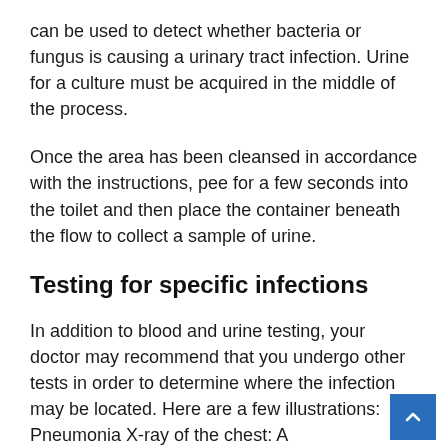can be used to detect whether bacteria or fungus is causing a urinary tract infection. Urine for a culture must be acquired in the middle of the process.
Once the area has been cleansed in accordance with the instructions, pee for a few seconds into the toilet and then place the container beneath the flow to collect a sample of urine.
Testing for specific infections
In addition to blood and urine testing, your doctor may recommend that you undergo other tests in order to determine where the infection may be located. Here are a few illustrations: Pneumonia X-ray of the chest: A